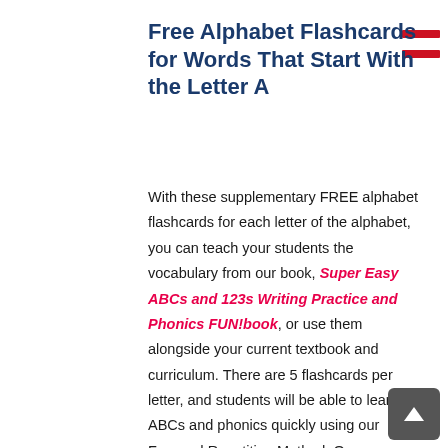Free Alphabet Flashcards for Words That Start With the Letter A
With these supplementary FREE alphabet flashcards for each letter of the alphabet, you can teach your students the vocabulary from our book, Super Easy ABCs and 123s Writing Practice and Phonics FUN!book, or use them alongside your current textbook and curriculum. There are 5 flashcards per letter, and students will be able to learn the ABCs and phonics quickly using our Focused Repetition Method. Once students have learned